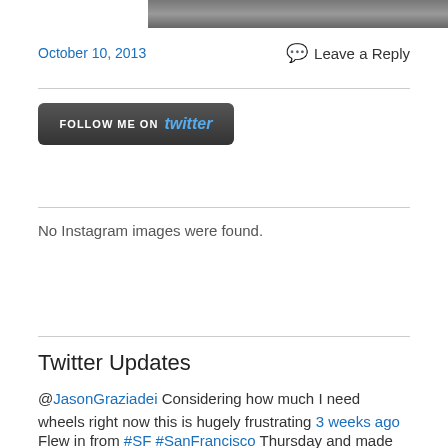[Figure (photo): Partial top image showing a person, cropped]
October 10, 2013
Leave a Reply
[Figure (other): FOLLOW ME ON Twitter button - dark rounded rectangle button]
No Instagram images were found.
Twitter Updates
@JasonGraziadei Considering how much I need wheels right now this is hugely frustrating 3 weeks ago
Flew in from #SF #SanFrancisco Thursday and made my first sale at #TheFlyingMinnow #Nantucket exactly three days la